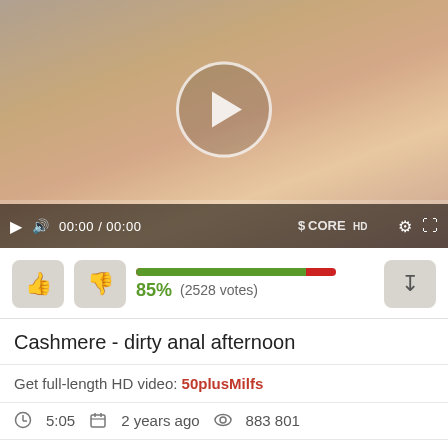[Figure (screenshot): Video player showing adult content with play button overlay and video controls bar at bottom showing 00:00 / 00:00 timestamp and ScoreHD branding]
85%   (2528 votes)
Cashmere - dirty anal afternoon
Get full-length HD video: 50plusMilfs
5:05   2 years ago   883 801
Tags:   ANAL   SKINNY
Models:  [ Cashmere ]